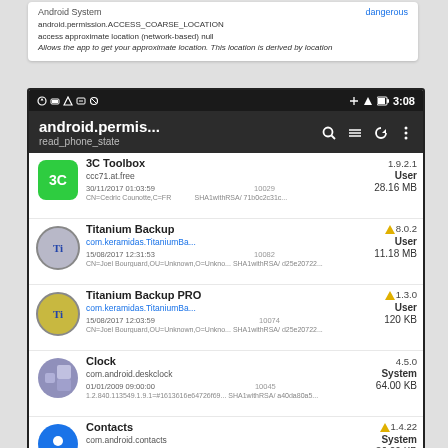[Figure (screenshot): Android app permission manager screen showing android.permis... read_phone_state permission with a list of apps: 3C Toolbox, Titanium Backup, Titanium Backup PRO, Clock, Contacts, Contacts Storage, Email]
Android System / dangerous
android.permission.ACCESS_COARSE_LOCATION
access approximate location (network-based) null
Allows the app to get your approximate location. This location is derived by location
android.permis...
read_phone_state
3C Toolbox | 1.9.2.1 | User | ccc71.at.free | 28.16 MB | 30/11/2017 01:03:59 | 10029 | CN=Cedric Counotte,C=FR | SHA1withRSA/ 71b0c2c31c...
Titanium Backup | 8.0.2 | User | com.keramidas.TitaniumBa... | 11.18 MB | 15/08/2017 12:31:53 | 10082 | CN=Joel Bourguard,OU=Unknown,O=Unkno... SHA1withRSA/ d25e20722...
Titanium Backup PRO | 1.3.0 | User | com.keramidas.TitaniumBa... | 120 KB | 15/08/2017 12:03:59 | 10074 | CN=Joel Bourguard,OU=Unknown,O=Unkno... SHA1withRSA/ d25e20722...
Clock | 4.5.0 | System | com.android.deskclock | 64.00 KB | 01/01/2009 09:00:00 | 10045 | 1.2.840.113549.1.9.1=#1613616e64726f69... SHA1withRSA/ a40da80a5...
Contacts | 1.4.22 | System | com.android.contacts | 36.00 KB | 01/01/2009 09:00:00 | 10005 | 1.2.840.113549.1.9.1=#1613616e64726f69... MD5withRSA/ 28bble4a7b9...
Contacts Storage | 7.1.2 | System | com.android.providers.cont... | 832 KB | 01/01/2009 09:00:00 | 10001 | 1.2.840.113549.1.9.1=#1613616e64726f69... MD5withRSA/ 28bble4a7b9...
Email | 7.1.2 | System | com.android.email | 228 KB | 01/01/2009 09:00:00 | 10047 | 1.2.840.113549.1.9.1=#1613616e64726f69... SHA1withRSA/ a40da80a5...